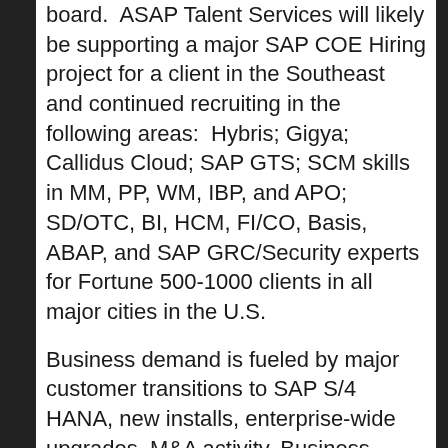board. ASAP Talent Services will likely be supporting a major SAP COE Hiring project for a client in the Southeast and continued recruiting in the following areas: Hybris; Gigya; Callidus Cloud; SAP GTS; SCM skills in MM, PP, WM, IBP, and APO; SD/OTC, BI, HCM, FI/CO, Basis, ABAP, and SAP GRC/Security experts for Fortune 500-1000 clients in all major cities in the U.S.
Business demand is fueled by major customer transitions to SAP S/4 HANA, new installs, enterprise-wide upgrades, M&A activity, Business Transformation Projects like start using TikTok for business, cloud services , and a continued move to modernize infrastructure while reducing costs as customers trend towards Cloud Offerings...